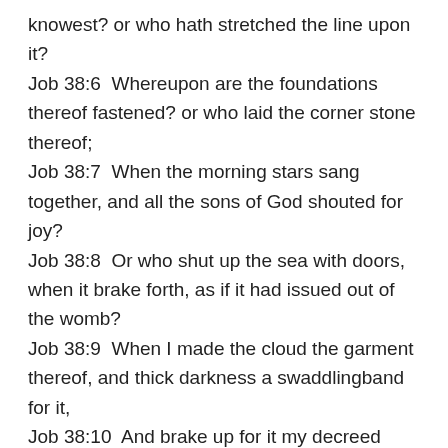knowest? or who hath stretched the line upon it?
Job 38:6  Whereupon are the foundations thereof fastened? or who laid the corner stone thereof;
Job 38:7  When the morning stars sang together, and all the sons of God shouted for joy?
Job 38:8  Or who shut up the sea with doors, when it brake forth, as if it had issued out of the womb?
Job 38:9  When I made the cloud the garment thereof, and thick darkness a swaddlingband for it,
Job 38:10  And brake up for it my decreed place, and set bars and doors,
Job 38:11  And said, Hitherto shalt thou come, but no further: and here shall thy proud waves be stayed?
Job 38:12  Hast thou commanded the morning since thy days; and caused the dayspring to know his place;